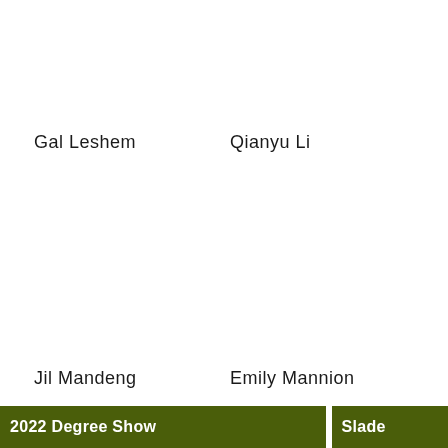Gal Leshem
Qianyu Li
Jil Mandeng
Emily Mannion
2022 Degree Show   Slade